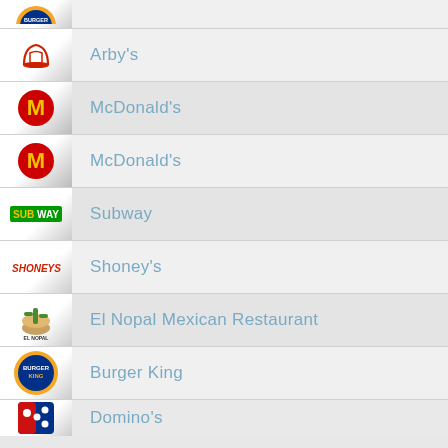Arby's
McDonald's
McDonald's
Subway
Shoney's
El Nopal Mexican Restaurant
Burger King
Domino's